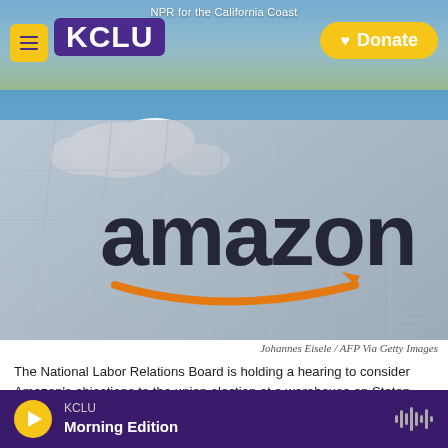NPR for the California Coast — KCLU — Donate
[Figure (photo): Amazon warehouse building exterior with the Amazon logo (dark letters with orange arrow) against a blue sky]
Johannes Eisele / AFP Via Getty Images
The National Labor Relations Board is holding a hearing to consider Amazon's objections to the union election at a warehouse on Staten Island. Amazon is seeking a new election.
A hearing is underway to consider whether the Amazon Labor Union's historic union victory on Staten Island should stand — or whether a re-do
KCLU — Morning Edition